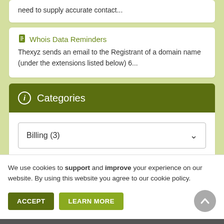need to supply accurate contact...
Whois Data Reminders
Thexyz sends an email to the Registrant of a domain name (under the extensions listed below) 6...
Categories
Billing (3)
We use cookies to support and improve your experience on our website. By using this website you agree to our cookie policy.
ACCEPT
LEARN MORE